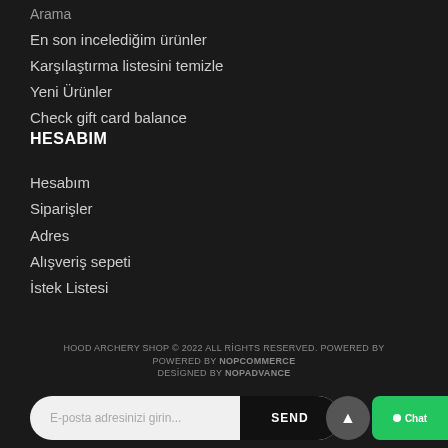Arama
En son incelediğim ürünler
Karşılaştırma listesini temizle
Yeni Ürünler
Check gift card balance
HESABIM
Hesabım
Siparişler
Adres
Alışveriş sepeti
İstek Listesi
HOOD ARCHERY SHOP © 2022 ALL RİGHTS RESERVED. POWERED BY
POWERED BY NOPCOMMERCE
DESİGNED BY NOPADVANCE